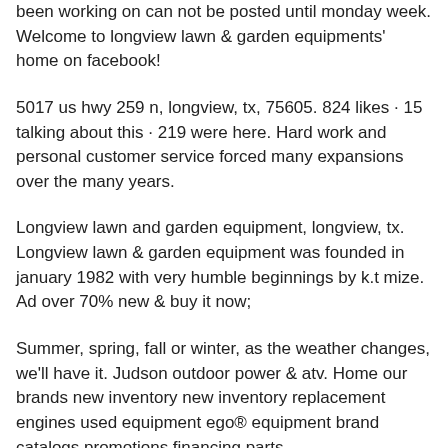been working on can not be posted until monday week. Welcome to longview lawn & garden equipments' home on facebook!
5017 us hwy 259 n, longview, tx, 75605. 824 likes · 15 talking about this · 219 were here. Hard work and personal customer service forced many expansions over the many years.
Longview lawn and garden equipment, longview, tx. Longview lawn & garden equipment was founded in january 1982 with very humble beginnings by k.t mize. Ad over 70% new & buy it now;
Summer, spring, fall or winter, as the weather changes, we'll have it. Judson outdoor power & atv. Home our brands new inventory new inventory replacement engines used equipment ego® equipment brand catalogs promotions financing parts.